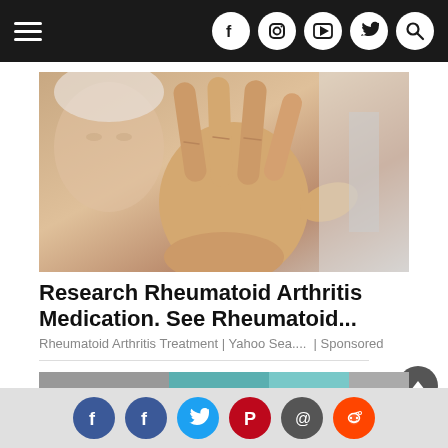Navigation bar with hamburger menu and social icons (Facebook, Instagram, YouTube, Twitter, Search)
[Figure (photo): Elderly woman holding up her hand showing fingers, suggesting rheumatoid arthritis pain]
Research Rheumatoid Arthritis Medication. See Rheumatoid...
Rheumatoid Arthritis Treatment | Yahoo Sea.... | Sponsored
[Figure (photo): Person in grayscale holding a blue ice pack against their head/neck area]
Social sharing icons: Facebook, Facebook, Twitter, Pinterest, Email, Reddit